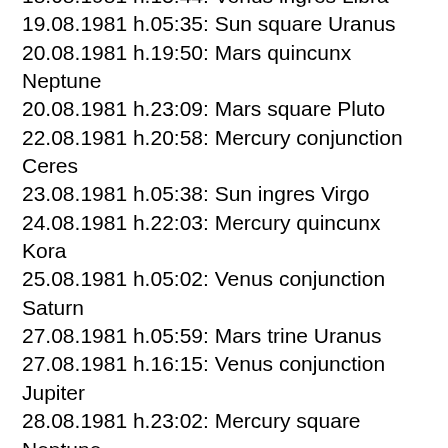18.08.1981 h.15:44: Venus ingres Libra
19.08.1981 h.05:35: Sun square Uranus
20.08.1981 h.19:50: Mars quincunx Neptune
20.08.1981 h.23:09: Mars square Pluto
22.08.1981 h.20:58: Mercury conjunction Ceres
23.08.1981 h.05:38: Sun ingres Virgo
24.08.1981 h.22:03: Mercury quincunx Kora
25.08.1981 h.05:02: Venus conjunction Saturn
27.08.1981 h.05:59: Mars trine Uranus
27.08.1981 h.16:15: Venus conjunction Jupiter
28.08.1981 h.23:02: Mercury square Neptune
30.08.1981 h.14:46: Ceres quincunx Kora
31.08.1981 h.09:49: Venus opposition Kora